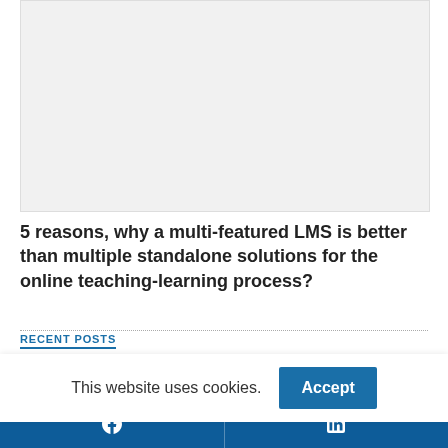[Figure (photo): Large image placeholder, light grey background]
5 reasons, why a multi-featured LMS is better than multiple standalone solutions for the online teaching-learning process?
RECENT POSTS
This website uses cookies.
Facebook | LinkedIn